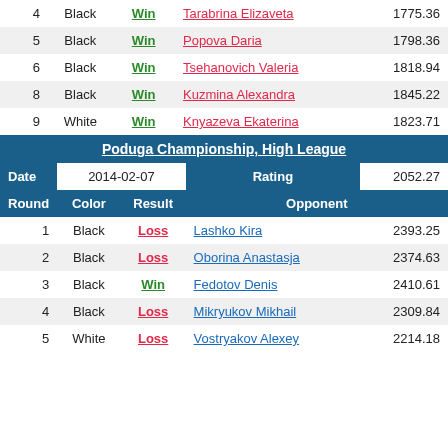| Round | Color | Result | Opponent | Rating |
| --- | --- | --- | --- | --- |
| 4 | Black | Win | Tarabrina Elizaveta | 1775.36 |
| 5 | Black | Win | Popova Daria | 1798.36 |
| 6 | Black | Win | Tsehanovich Valeria | 1818.94 |
| 8 | Black | Win | Kuzmina Alexandra | 1845.22 |
| 9 | White | Win | Knyazeva Ekaterina | 1823.71 |
Poduga Championship, High League
| Date | 2014-02-07 | Rating | 2052.27 |
| --- | --- | --- | --- |
| Round | Color | Result | Opponent |  |
| 1 | Black | Loss | Lashko Kira | 2393.25 |
| 2 | Black | Loss | Oborina Anastasja | 2374.63 |
| 3 | Black | Win | Fedotov Denis | 2410.61 |
| 4 | Black | Loss | Mikryukov Mikhail | 2309.84 |
| 5 | White | Loss | Vostryakov Alexey | 2214.18 |